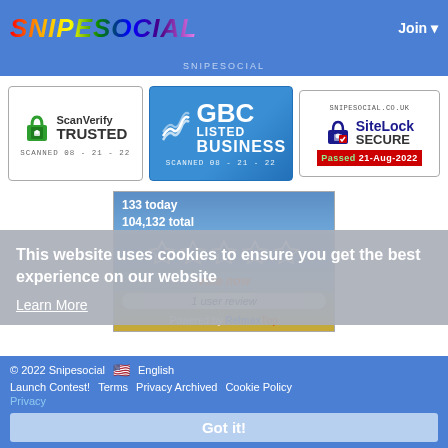SNIPESOCIAL    Join
[Figure (logo): ScanVerify TRUSTED badge, scanned 08-21-22]
[Figure (logo): GBC Listed Business badge, scanned 08-21-22]
[Figure (logo): SiteLock Secure badge, snipesocial.co.uk, Passed 21-Aug-2022]
[Figure (infographic): Rating widget showing 133 today, 104,132 total, 5 stars, vote now, 1 user review, Powered by RelmaxTop]
This website uses cookies to ensure you get the best experience on our website
Learn More
© 2022 Snipesocial   English   Launch Contest!   Terms   Privacy Archived   Cookie Policy   Privacy   Got it!